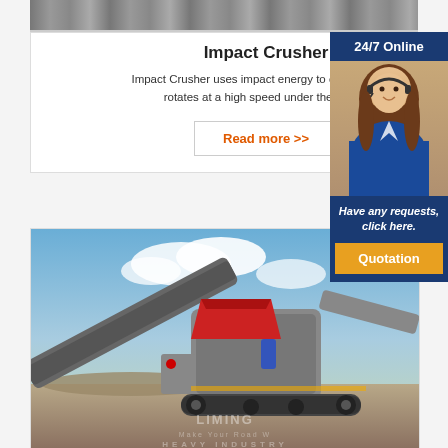[Figure (photo): Top strip showing industrial machinery, partially cropped]
Impact Crusher
Impact Crusher uses impact energy to crush the m... rotates at a high speed under the drivi...
Read more >>
[Figure (photo): 24/7 Online sidebar with customer service representative wearing headset, blue background, with 'Have any requests, click here.' text and Quotation button]
[Figure (photo): Large mobile impact crusher machine on construction site with blue sky background, Liming Heavy Industry watermark]